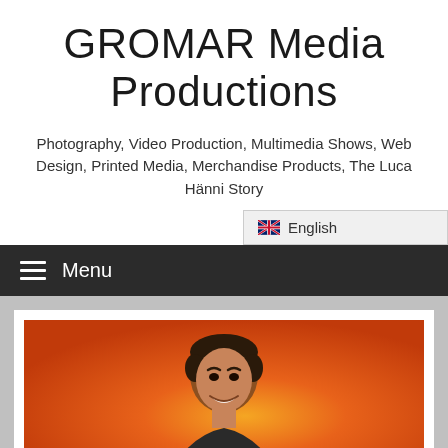GROMAR Media Productions
Photography, Video Production, Multimedia Shows, Web Design, Printed Media, Merchandise Products, The Luca Hänni Story
[Figure (screenshot): Language selector dropdown showing UK flag and 'English' text on light gray background]
Menu
[Figure (photo): Portrait photo of a young man with dark hair smiling against an orange/warm gradient background]